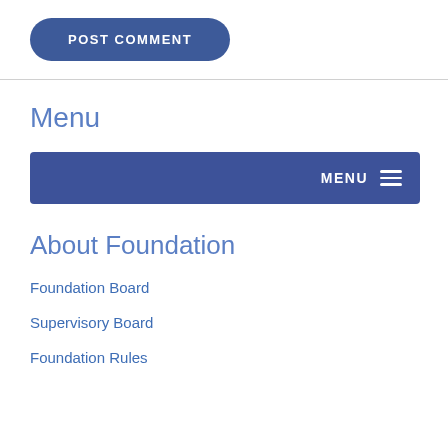[Figure (other): A rounded rectangular button with dark blue background and white uppercase text reading 'POST COMMENT']
Menu
[Figure (other): A dark blue navigation bar with 'MENU' text and hamburger icon on the right side]
About Foundation
Foundation Board
Supervisory Board
Foundation Rules